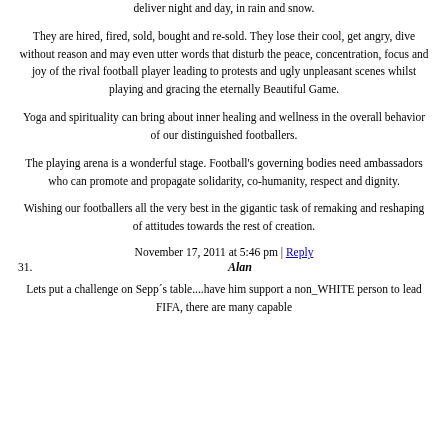deliver night and day, in rain and snow.
They are hired, fired, sold, bought and re-sold. They lose their cool, get angry, dive without reason and may even utter words that disturb the peace, concentration, focus and joy of the rival football player leading to protests and ugly unpleasant scenes whilst playing and gracing the eternally Beautiful Game.
Yoga and spirituality can bring about inner healing and wellness in the overall behavior of our distinguished footballers.
The playing arena is a wonderful stage. Football's governing bodies need ambassadors who can promote and propagate solidarity, co-humanity, respect and dignity.
Wishing our footballers all the very best in the gigantic task of remaking and reshaping of attitudes towards the rest of creation.
November 17, 2011 at 5:46 pm | Reply
31.  Alan
Lets put a challenge on Sepp´s table....have him support a non_WHITE person to lead FIFA, there are many capable